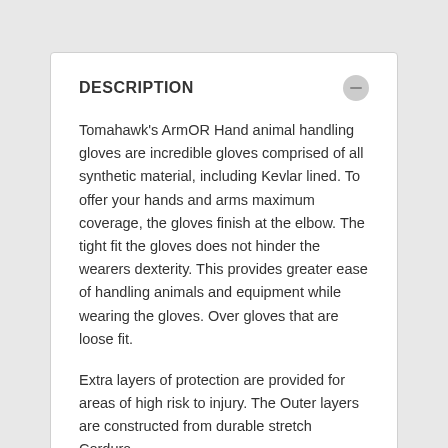DESCRIPTION
Tomahawk's ArmOR Hand animal handling gloves are incredible gloves comprised of all synthetic material, including Kevlar lined. To offer your hands and arms maximum coverage, the gloves finish at the elbow. The tight fit the gloves does not hinder the wearers dexterity. This provides greater ease of handling animals and equipment while wearing the gloves. Over gloves that are loose fit.
Extra layers of protection are provided for areas of high risk to injury. The Outer layers are constructed from durable stretch Cordura,